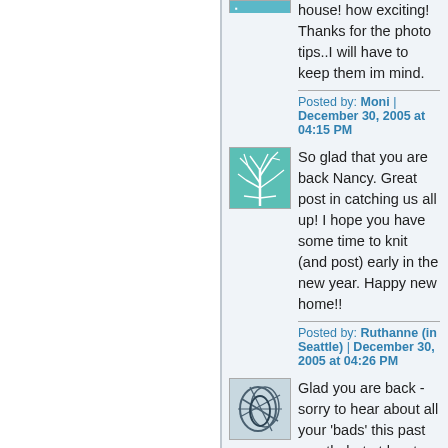house! how exciting! Thanks for the photo tips..I will have to keep them im mind.
Posted by: Moni | December 30, 2005 at 04:15 PM
[Figure (illustration): Teal/green abstract branch avatar image]
So glad that you are back Nancy. Great post in catching us all up! I hope you have some time to knit (and post) early in the new year. Happy new home!!
Posted by: Ruthanne (in Seattle) | December 30, 2005 at 04:26 PM
[Figure (illustration): Gray/teal abstract lines avatar image]
Glad you are back - sorry to hear about all your 'bads' this past month, but at least there were